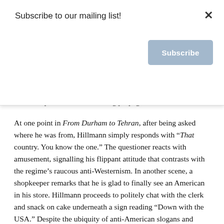[Figure (screenshot): Modal popup with 'Subscribe to our mailing list!' heading, a close X button in the top right, and a blue 'Subscribe' button.]
necessarily imbibe the blustering propaganda of the Islamists.
At one point in From Durham to Tehran, after being asked where he was from, Hillmann simply responds with “That country. You know the one.” The questioner reacts with amusement, signalling his flippant attitude that contrasts with the regime’s raucous anti-Westernism. In another scene, a shopkeeper remarks that he is glad to finally see an American in his store. Hillmann proceeds to politely chat with the clerk and snack on cake underneath a sign reading “Down with the USA.” Despite the ubiquity of anti-American slogans and symbols around Tehran, the people themselves largely welcomed his presence. This indicates a degree of dissonance between the Islamist regime and the Iranian people.
Indeed, one does not need to extensively sleuth to conclude